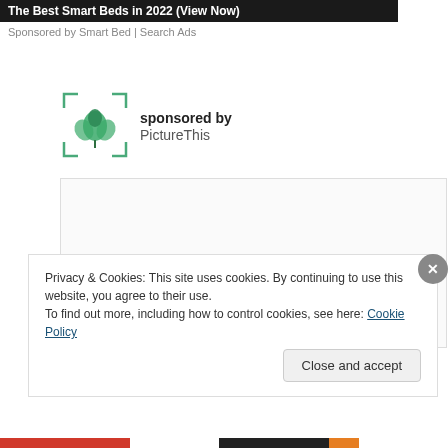[Figure (screenshot): Dark banner ad for 'The Best Smart Beds in 2022 (View Now)']
Sponsored by Smart Bed | Search Ads
[Figure (logo): PictureThis app logo with green plant/flower icon with corner bracket frame]
sponsored by PictureThis
[Figure (screenshot): Empty white advertisement content box with light border]
Privacy & Cookies: This site uses cookies. By continuing to use this website, you agree to their use.
To find out more, including how to control cookies, see here: Cookie Policy
Close and accept